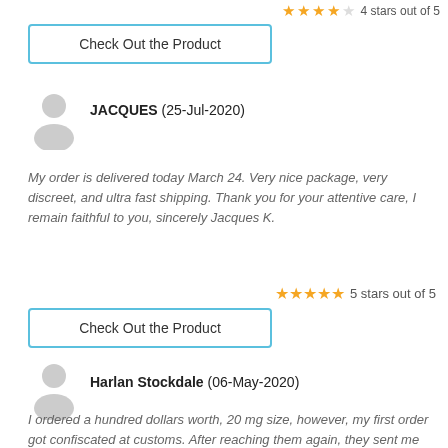[Figure (other): Partial star rating at top right, approximately 4 stars out of 5]
Check Out the Product
[Figure (other): User avatar silhouette icon for JACQUES]
JACQUES (25-Jul-2020)
My order is delivered today March 24. Very nice package, very discreet, and ultra fast shipping. Thank you for your attentive care, I remain faithful to you, sincerely Jacques K.
5 stars out of 5
Check Out the Product
[Figure (other): User avatar silhouette icon for Harlan Stockdale]
Harlan Stockdale (06-May-2020)
I ordered a hundred dollars worth, 20 mg size, however, my first order got confiscated at customs. After reaching them again, they sent me another. Shipping the product to Canada, can be confiscated at the